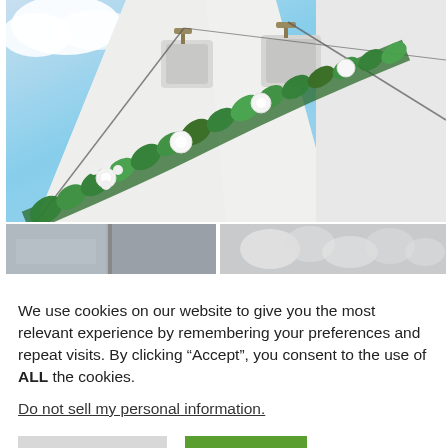[Figure (photo): Upward-angle photograph of a white Mediterranean church building exterior against a blue sky, with a diagonal garland of green leaves and white flowers draped along the white-washed wall. Metal cables and fixtures visible at the top.]
[Figure (photo): Thumbnail strip showing two partial images: left thumbnail shows a gray/stone surface, right thumbnail shows a close-up of white decorative floral or textile detail.]
We use cookies on our website to give you the most relevant experience by remembering your preferences and repeat visits. By clicking “Accept”, you consent to the use of ALL the cookies.
Do not sell my personal information.
Cookie Settings
Accept